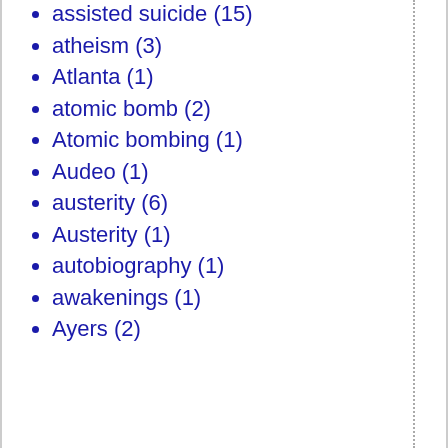assisted suicide (15)
atheism (3)
Atlanta (1)
atomic bomb (2)
Atomic bombing (1)
Audeo (1)
austerity (6)
Austerity (1)
autobiography (1)
awakenings (1)
Ayers (2)